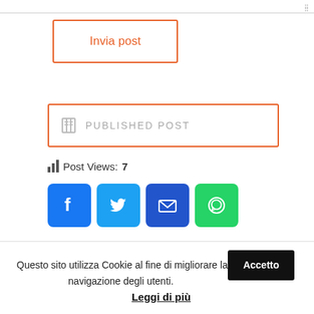[Figure (screenshot): Top border area of a textarea with resize dots in bottom-right corner]
[Figure (screenshot): Orange-bordered button labeled 'Invia post']
[Figure (screenshot): Orange-bordered button with book icon and 'PUBLISHED POST' text in gray]
Post Views: 7
[Figure (screenshot): Social sharing icons: Facebook, Twitter, Email, WhatsApp]
[Figure (screenshot): Scroll-to-top button with chevron up icon on gray background]
Questo sito utilizza Cookie al fine di migliorare la navigazione degli utenti. Accetto Leggi di più